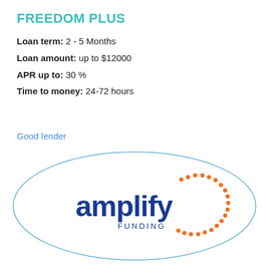FREEDOM PLUS
Loan term: 2 - 5 Months
Loan amount: up to $12000
APR up to: 30 %
Time to money: 24-72 hours
Good lender
[Figure (logo): Amplify Funding logo inside a teal oval outline. The logo features 'amplify' in blue lowercase text with 'FUNDING' beneath in smaller blue caps, and an orange dotted arc on the right side forming a partial circle.]